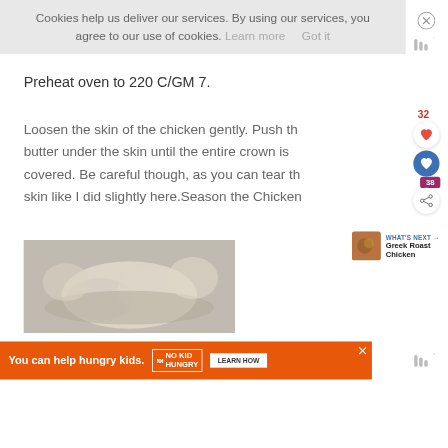Cookies help us deliver our services. By using our services, you agree to our use of cookies. Learn more Got it
Preheat oven to 220 C/GM 7.
Loosen the skin of the chicken gently. Push the butter under the skin until the entire crown is covered. Be careful though, as you can tear the skin like I did slightly here.Season the Chicken
32
38
WHAT'S NEXT → Greek Roast Chicken
[Figure (photo): Food photo showing chicken being prepared]
You can help hungry kids. NO KID HUNGRY LEARN HOW